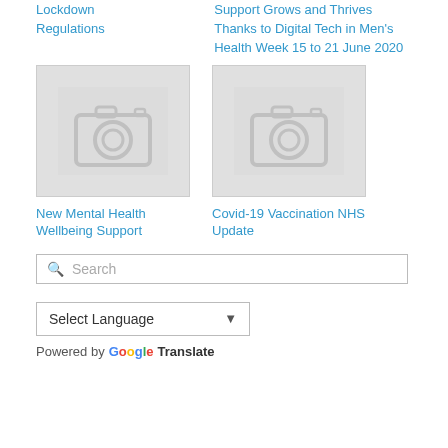Lockdown Regulations
Support Grows and Thrives Thanks to Digital Tech in Men's Health Week 15 to 21 June 2020
[Figure (photo): Placeholder image with camera icon for New Mental Health Wellbeing Support article]
New Mental Health Wellbeing Support
[Figure (photo): Placeholder image with camera icon for Covid-19 Vaccination NHS Update article]
Covid-19 Vaccination NHS Update
Search
Select Language
Powered by Google Translate